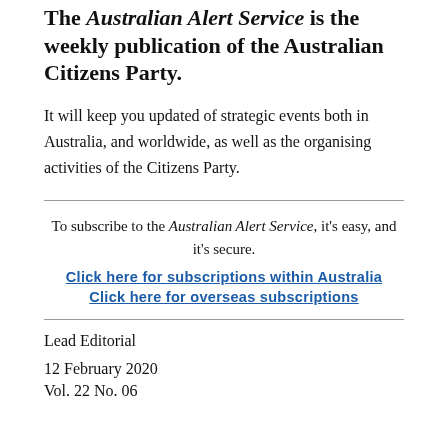The Australian Alert Service is the weekly publication of the Australian Citizens Party.
It will keep you updated of strategic events both in Australia, and worldwide, as well as the organising activities of the Citizens Party.
To subscribe to the Australian Alert Service, it's easy, and it's secure.
Click here for subscriptions within Australia
Click here for overseas subscriptions
Lead Editorial
12 February 2020
Vol. 22 No. 06